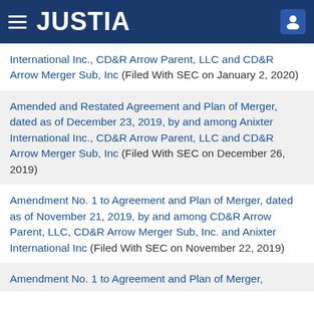JUSTIA
International Inc., CD&R Arrow Parent, LLC and CD&R Arrow Merger Sub, Inc (Filed With SEC on January 2, 2020)
Amended and Restated Agreement and Plan of Merger, dated as of December 23, 2019, by and among Anixter International Inc., CD&R Arrow Parent, LLC and CD&R Arrow Merger Sub, Inc (Filed With SEC on December 26, 2019)
Amendment No. 1 to Agreement and Plan of Merger, dated as of November 21, 2019, by and among CD&R Arrow Parent, LLC, CD&R Arrow Merger Sub, Inc. and Anixter International Inc (Filed With SEC on November 22, 2019)
Amendment No. 1 to Agreement and Plan of Merger,